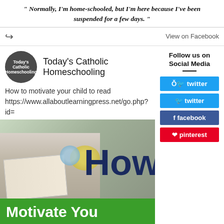" Normally, I'm home-schooled, but I'm here because I've been suspended for a few days. "
View on Facebook
Today's Catholic Homeschooling
How to motivate your child to read
https://www.allaboutlearningpress.net/go.php?id=
Follow us on Social Media
twitter
facebook
pinterest
[Figure (photo): Article thumbnail showing a person reading with text overlay 'How to Motivate You...' on dark navy and green banner]